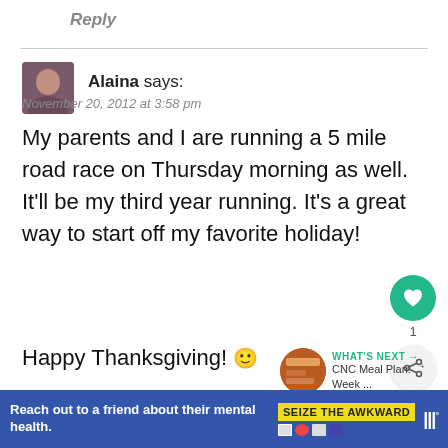Reply
Alaina says:
November 20, 2012 at 3:58 pm
My parents and I are running a 5 mile road race on Thursday morning as well. It’ll be my third year running. It’s a great way to start off my favorite holiday!
Happy Thanksgiving! 🙂
Reply
WHAT'S NEXT → CNC Meal Plan: Week ...
Reach out to a friend about their mental health.